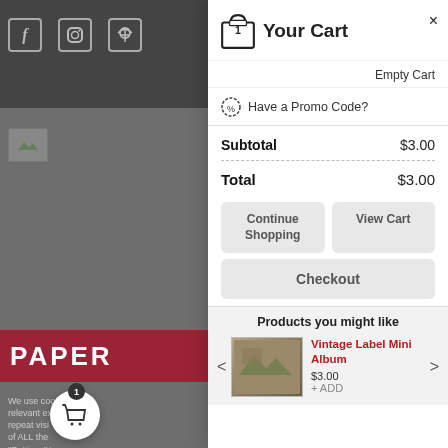[Figure (screenshot): Background website page showing social media icons, a small thumbnail image, red bar with PAPER text, and cookie consent text on a grey background.]
Your Cart
Empty Cart
Have a Promo Code?
Subtotal   $3.00
Total   $3.00
Continue Shopping
View Cart
Checkout
Products you might like
Vintage Label Mini Album
$3.00